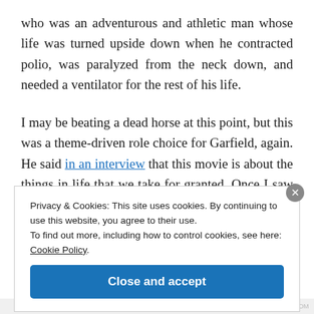who was an adventurous and athletic man whose life was turned upside down when he contracted polio, was paralyzed from the neck down, and needed a ventilator for the rest of his life.
I may be beating a dead horse at this point, but this was a theme-driven role choice for Garfield, again. He said in an interview that this movie is about the things in life that we take for granted. Once I saw that interview, I
Privacy & Cookies: This site uses cookies. By continuing to use this website, you agree to their use.
To find out more, including how to control cookies, see here: Cookie Policy
Close and accept